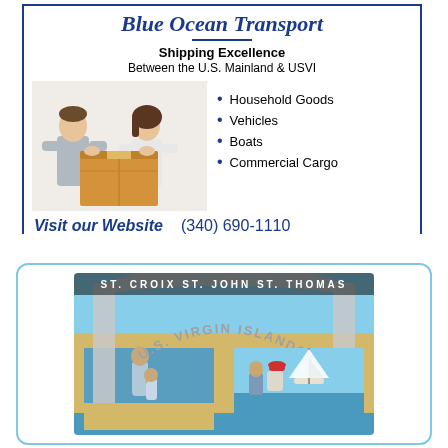[Figure (illustration): Blue Ocean Transport advertisement with couple holding moving box, bullet list of services including Household Goods, Vehicles, Boats, Commercial Cargo, with website and phone number (340) 690-1110]
[Figure (photo): U.S. Virgin Islands promotional image showing St. Croix, St. John, St. Thomas with arch, people on beach, and sailboat]